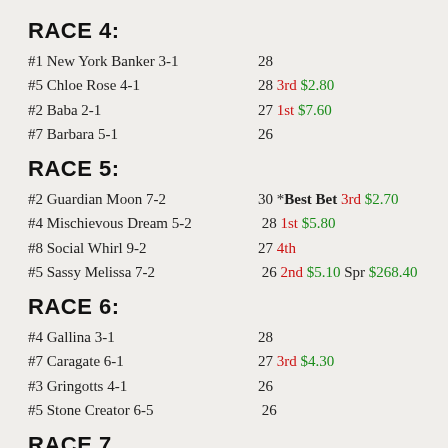RACE 4:
#1 New York Banker 3-1   28
#5 Chloe Rose 4-1   28 3rd $2.80
#2 Baba 2-1   27 1st $7.60
#7 Barbara 5-1   26
RACE 5:
#2 Guardian Moon 7-2   30 *Best Bet 3rd $2.70
#4 Mischievous Dream 5-2   28 1st $5.80
#8 Social Whirl 9-2   27 4th
#5 Sassy Melissa 7-2   26 2nd $5.10 Spr $268.40
RACE 6:
#4 Gallina 3-1   28
#7 Caragate 6-1   27 3rd $4.30
#3 Gringotts 4-1   26
#5 Stone Creator 6-5   26
RACE 7